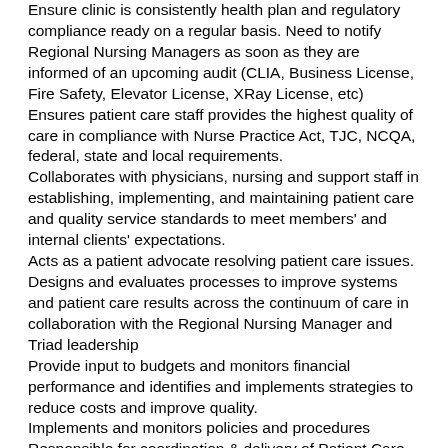Ensure clinic is consistently health plan and regulatory compliance ready on a regular basis. Need to notify Regional Nursing Managers as soon as they are informed of an upcoming audit (CLIA, Business License, Fire Safety, Elevator License, XRay License, etc)
Ensures patient care staff provides the highest quality of care in compliance with Nurse Practice Act, TJC, NCQA, federal, state and local requirements.
Collaborates with physicians, nursing and support staff in establishing, implementing, and maintaining patient care and quality service standards to meet members' and internal clients' expectations.
Acts as a patient advocate resolving patient care issues.
Designs and evaluates processes to improve systems and patient care results across the continuum of care in collaboration with the Regional Nursing Manager and Triad leadership
Provide input to budgets and monitors financial performance and identifies and implements strategies to reduce costs and improve quality.
Implements and monitors policies and procedures
Responsible for coordination & delivery of Patient Care Medical Home services between clinic departments.